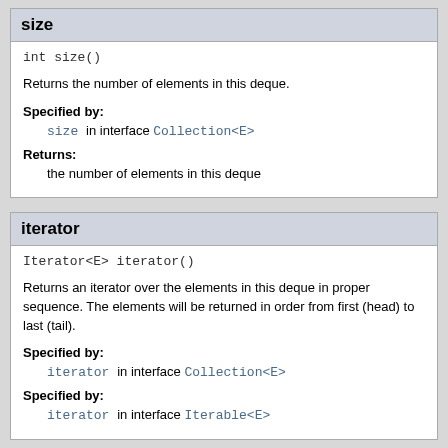size
int size()
Returns the number of elements in this deque.
Specified by:
size in interface Collection<E>
Returns:
the number of elements in this deque
iterator
Iterator<E> iterator()
Returns an iterator over the elements in this deque in proper sequence. The elements will be returned in order from first (head) to last (tail).
Specified by:
iterator in interface Collection<E>
Specified by:
iterator in interface Iterable<E>